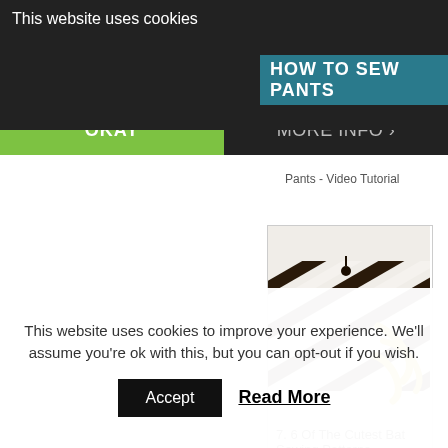This website uses cookies
HOW TO SEW PANTS
OKAY
MORE INFO
Pants - Video Tutorial
[Figure (photo): Zebra-striped fabric bat sewing project with yellow chenille pipe cleaner legs/wings on a white background]
7. 6 Of The Cutest Bat Sewing Patterns
This website uses cookies to improve your experience. We'll assume you're ok with this, but you can opt-out if you wish.
Accept
Read More